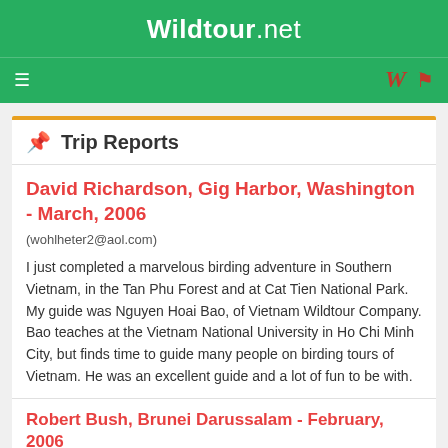Wildtour.net
Trip Reports
David Richardson, Gig Harbor, Washington - March, 2006
(wohlheter2@aol.com)
I just completed a marvelous birding adventure in Southern Vietnam, in the Tan Phu Forest and at Cat Tien National Park. My guide was Nguyen Hoai Bao, of Vietnam Wildtour Company. Bao teaches at the Vietnam National University in Ho Chi Minh City, but finds time to guide many people on birding tours of Vietnam. He was an excellent guide and a lot of fun to be with.
Robert Bush, Brunei Darussalam - February, 2006